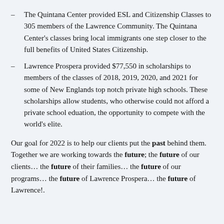The Quintana Center provided ESL and Citizenship Classes to 305 members of the Lawrence Community. The Quintana Center's classes bring local immigrants one step closer to the full benefits of United States Citizenship.
Lawrence Prospera provided $77,550 in scholarships to members of the classes of 2018, 2019, 2020, and 2021 for some of New Englands top notch private high schools. These scholarships allow students, who otherwise could not afford a private school eduation, the opportunity to compete with the world's elite.
Our goal for 2022 is to help our clients put the past behind them. Together we are working towards the future; the future of our clients… the future of their families… the future of our programs… the future of Lawrence Prospera… the future of Lawrence!.